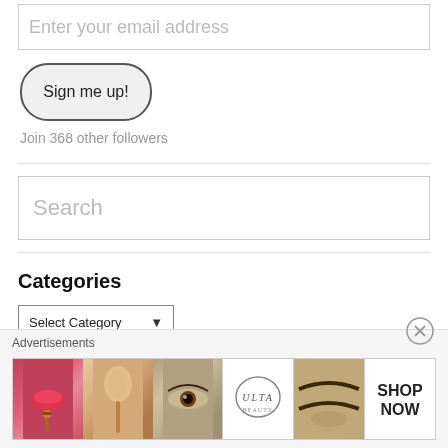Enter your email address
Sign me up!
Join 368 other followers
Search
Categories
Select Category
Advertisements
[Figure (infographic): Ulta Beauty advertisement banner showing beauty makeup images: lips with lipstick and brush, eye with makeup, Ulta Beauty logo, close-up of eyebrows, and SHOP NOW text]